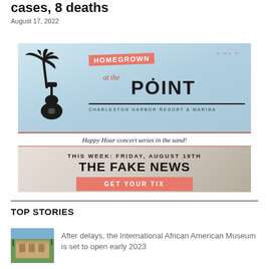cases, 8 deaths
August 17, 2022
[Figure (infographic): Advertisement for Homegrown at the Point concert series at Charleston Harbor Resort & Marina. Shows palm tree and guitar silhouette. Text: Happy Hour concert series in the sand! THIS WEEK: FRIDAY, AUGUST 19TH THE FAKE NEWS. GET YOUR TIX button.]
TOP STORIES
[Figure (photo): Thumbnail photo of a building with palm trees, likely the International African American Museum]
After delays, the International African American Museum is set to open early 2023